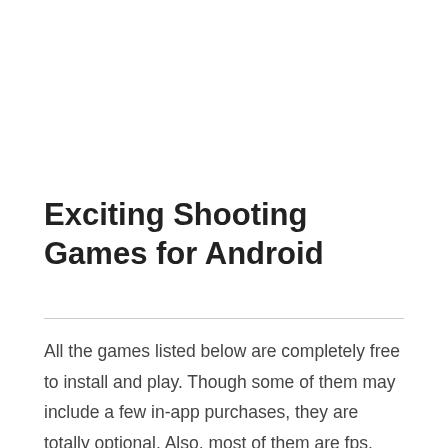Exciting Shooting Games for Android
All the games listed below are completely free to install and play. Though some of them may include a few in-app purchases, they are totally optional. Also, most of them are fps, which means first-person shooter games. This is why they will make you addicted and